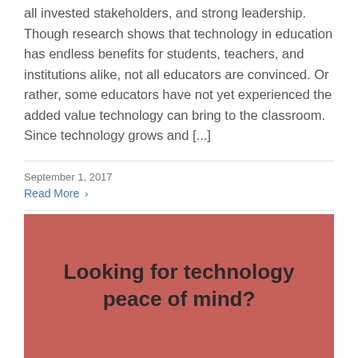all invested stakeholders, and strong leadership. Though research shows that technology in education has endless benefits for students, teachers, and institutions alike, not all educators are convinced. Or rather, some educators have not yet experienced the added value technology can bring to the classroom. Since technology grows and [...]
September 1, 2017
Read More ›
Looking for technology peace of mind?